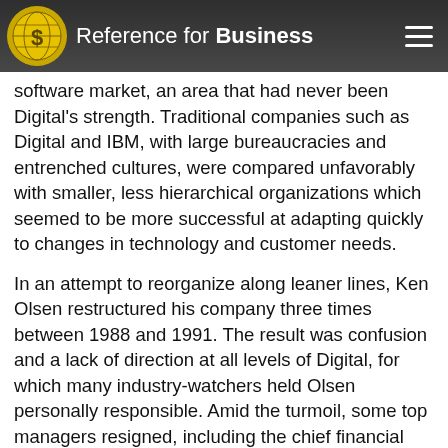Reference for Business
software market, an area that had never been Digital's strength. Traditional companies such as Digital and IBM, with large bureaucracies and entrenched cultures, were compared unfavorably with smaller, less hierarchical organizations which seemed to be more successful at adapting quickly to changes in technology and customer needs.
In an attempt to reorganize along leaner lines, Ken Olsen restructured his company three times between 1988 and 1991. The result was confusion and a lack of direction at all levels of Digital, for which many industry-watchers held Olsen personally responsible. Amid the turmoil, some top managers resigned, including the chief financial officer and the president of Digital's European operations. In April 1992 Digital announced a shocking $294 million quarterly loss, and critics commented that only a massive cost-cutting initiative could save the company. Under increasing pressure from the board to improve performance, Ken Olsen surprised outsiders by announcing that he would step down as president and chief executive officer of the company effective October 1992. His